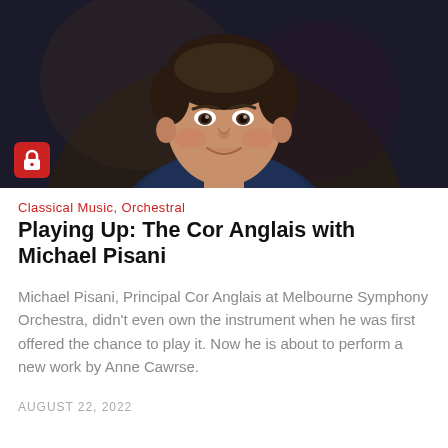[Figure (photo): Portrait photo of Michael Pisani, a smiling middle-aged man, against a dark blurred background. A red padlock badge icon appears in the lower-left corner of the image.]
Classical Music, Orchestral
Playing Up: The Cor Anglais with Michael Pisani
Michael Pisani, Principal Cor Anglais at Melbourne Symphony Orchestra, didn't even own the instrument when he was first offered the chance to play it. Now he is about to perform a new work by Anne Cawrse.
AUGUST 22, 2022